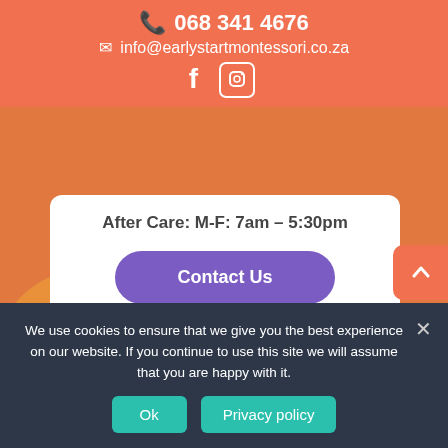📞 068 341 4676
✉ info@earlystartmontessori.co.za
[Figure (screenshot): Social media icons: Facebook (f) and Instagram (camera) in white on salmon/orange background header bar]
[Figure (photo): Background showing colorful round wooden Montessori objects in orange, tan, and pink on a light surface]
After Care: M-F: 7am – 5:30pm
Contact Us
We use cookies to ensure that we give you the best experience on our website. If you continue to use this site we will assume that you are happy with it.
Ok
Privacy policy